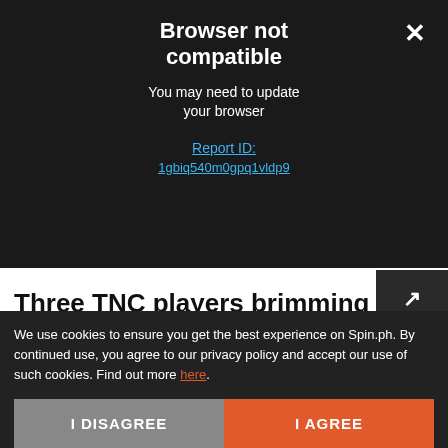Browser not compatible
You may need to update your browser
Report ID:
1gbiq540m0gpq1vldp9
Three TNC players brimming with a lot of potential
We use cookies to ensure you get the best experience on Spin.ph. By continued use, you agree to our privacy policy and accept our use of such cookies. Find out more here.
I DISAGREE
I AGREE